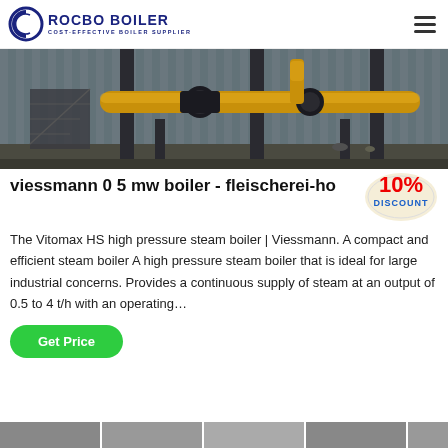[Figure (logo): Rocbo Boiler logo with C-shaped graphic and text 'ROCBO BOILER / COST-EFFECTIVE BOILER SUPPLIER']
[Figure (photo): Industrial boiler installation photo showing large yellow piping and support structures inside a warehouse/industrial building]
viessmann 0 5 mw boiler - fleischerei-ho
[Figure (infographic): 10% DISCOUNT badge in red and blue text on cream/beige ticket-shaped background]
The Vitomax HS high pressure steam boiler | Viessmann. A compact and efficient steam boiler A high pressure steam boiler that is ideal for large industrial concerns. Provides a continuous supply of steam at an output of 0.5 to 4 t/h with an operating…
[Figure (photo): Bottom strip showing partial thumbnails of additional boiler-related images]